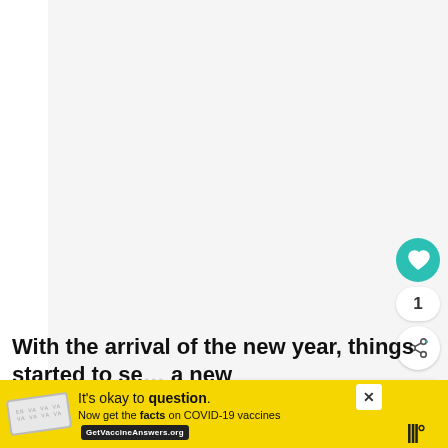[Figure (photo): Large mostly white/blank image area occupying the upper portion of the page, with a teal like/favorite button, a like count of 1, and a share button on the right side. A 'What's Next' panel appears at bottom right showing 'Blog Post #1000: 10...']
With the arrival of the new year, things started to se... a new
[Figure (infographic): Yellow advertisement banner at the bottom: 'It's okay to question. Now get the facts on COVID-19 vaccines' with GetVaccineAnswers.org button, a close X button, a stamp graphic, and a wavy lines logo on the right.]